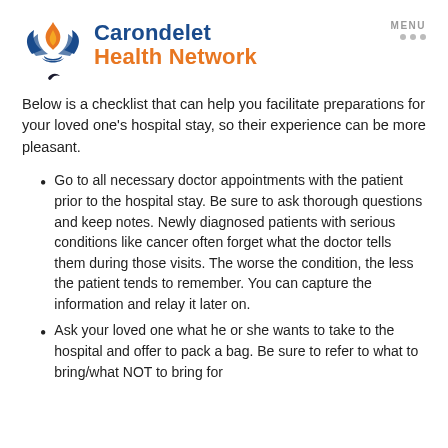[Figure (logo): Carondelet Health Network logo with flame and leaf SVG icon in blue and orange, and text 'Carondelet Health Network']
Below is a checklist that can help you facilitate preparations for your loved one's hospital stay, so their experience can be more pleasant.
Go to all necessary doctor appointments with the patient prior to the hospital stay. Be sure to ask thorough questions and keep notes. Newly diagnosed patients with serious conditions like cancer often forget what the doctor tells them during those visits. The worse the condition, the less the patient tends to remember. You can capture the information and relay it later on.
Ask your loved one what he or she wants to take to the hospital and offer to pack a bag. Be sure to refer to what to bring/what NOT to bring for